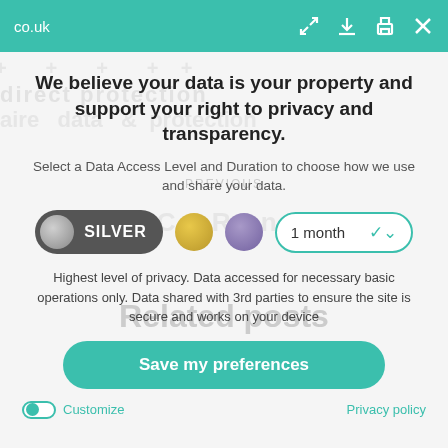co.uk
We believe your data is your property and support your right to privacy and transparency.
Select a Data Access Level and Duration to choose how we use and share your data.
[Figure (infographic): Privacy consent UI with SILVER pill selector, gold circle, purple circle, and 1 month dropdown]
Highest level of privacy. Data accessed for necessary basic operations only. Data shared with 3rd parties to ensure the site is secure and works on your device
Save my preferences
Customize
Privacy policy